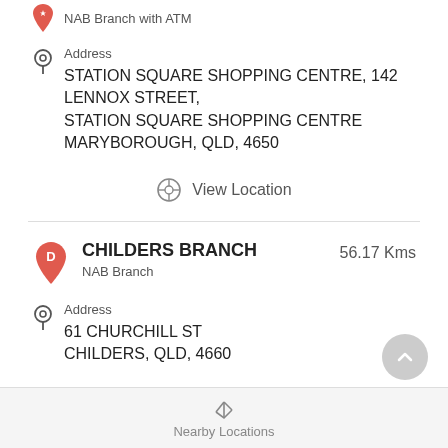NAB Branch with ATM
Address
STATION SQUARE SHOPPING CENTRE, 142 LENNOX STREET, STATION SQUARE SHOPPING CENTRE
MARYBOROUGH, QLD, 4650
View Location
CHILDERS BRANCH
NAB Branch
56.17 Kms
Address
61 CHURCHILL ST
CHILDERS, QLD, 4660
Nearby Locations